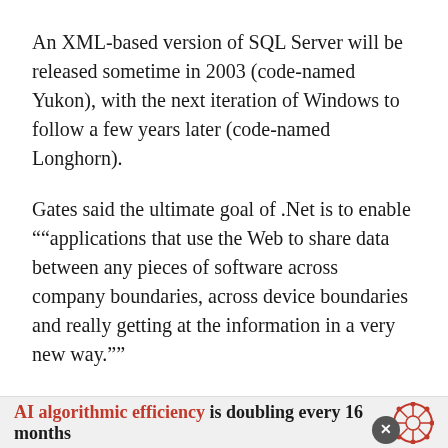An XML-based version of SQL Server will be released sometime in 2003 (code-named Yukon), with the next iteration of Windows to follow a few years later (code-named Longhorn).
Gates said the ultimate goal of .Net is to enable ""applications that use the Web to share data between any pieces of software across company boundaries, across device boundaries and really getting at the information in a very new way.""
But Microsoft has failed to get that message across to enterprise users, said IDC Canada Ltd. analyst Warren Shiau. By including too many products like
AI algorithmic efficiency is doubling every 16 months